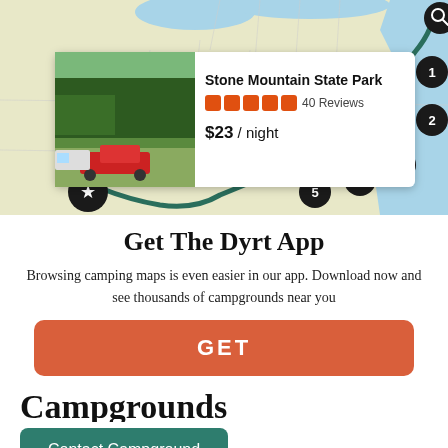[Figure (map): Map showing a route through eastern United States with numbered pins (1-5) and a star pin, a teal/green route line connecting them, and a popup card for Stone Mountain State Park showing a photo of a campsite with a red truck, 5-star rating, 40 Reviews, and $23/night price.]
Get The Dyrt App
Browsing camping maps is even easier in our app. Download now and see thousands of campgrounds near you
GET
Campgrounds
Contact Campground